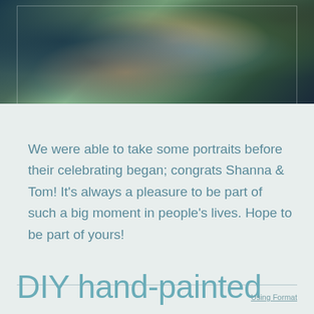[Figure (photo): Partial photo of two people (couple) outdoors, cropped at top of page. A woman with long blonde hair wearing a blue striped outfit, a man in dark clothing beside her, with green foliage in the background.]
We were able to take some portraits before their celebrating began; congrats Shanna & Tom! It's always a pleasure to be part of such a big moment in people's lives. Hope to be part of yours!
DIY hand-painted
Using Format